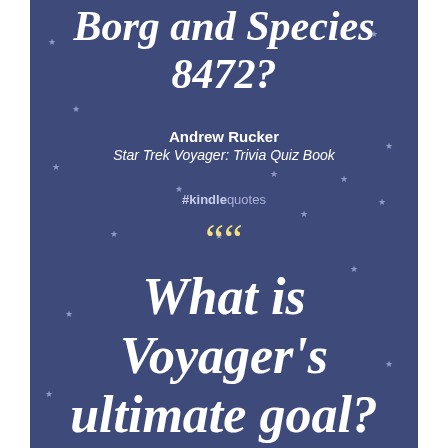Borg and Species 8472?
Andrew Rucker
Star Trek Voyager: Trivia Quiz Book
#kindlequotes
““
What is Voyager's ultimate goal?